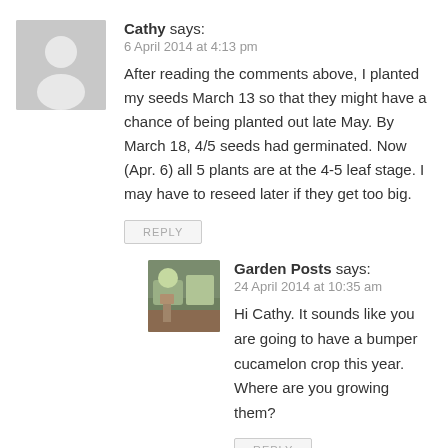[Figure (illustration): Gray placeholder avatar silhouette icon for user Cathy]
Cathy says:
6 April 2014 at 4:13 pm
After reading the comments above, I planted my seeds March 13 so that they might have a chance of being planted out late May. By March 18, 4/5 seeds had germinated. Now (Apr. 6) all 5 plants are at the 4-5 leaf stage. I may have to reseed later if they get too big.
REPLY
[Figure (photo): Small square photo of Garden Posts author avatar showing a person in a garden]
Garden Posts says:
24 April 2014 at 10:35 am
Hi Cathy. It sounds like you are going to have a bumper cucamelon crop this year. Where are you growing them?
REPLY